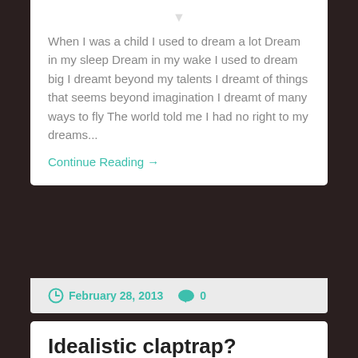When I was a child I used to dream a lot Dream in my sleep Dream in my wake I used to dream big I dreamt beyond my talents I dreamt of things that seems beyond imagination I dreamt of many ways to fly The world told me I had no right to my dreams...
Continue Reading →
February 28, 2013   0
Idealistic claptrap?
I friend recently shared this video on facebook. I